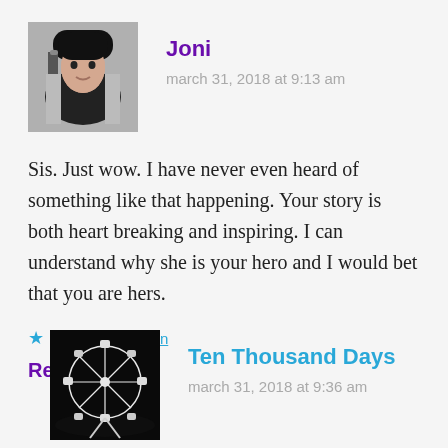[Figure (photo): Avatar photo of Joni - woman with black hat and long dark/grey hair]
Joni
march 31, 2018 at 9:13 am
Sis. Just wow. I have never even heard of something like that happening. Your story is both heart breaking and inspiring. I can understand why she is your hero and I would bet that you are hers.
★ Liked by 1 person
Reply
[Figure (photo): Avatar photo of Ten Thousand Days - illuminated ferris wheel at night]
Ten Thousand Days
march 31, 2018 at 9:36 am